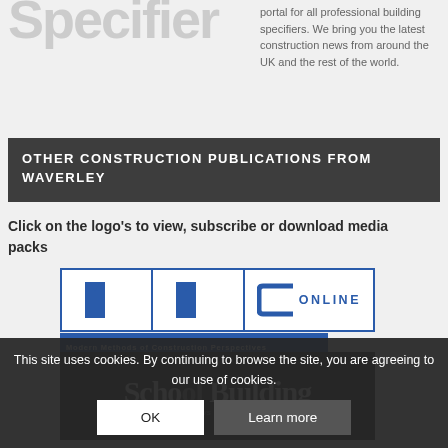Specifier
portal for all professional building specifiers. We bring you the latest construction news from around the UK and the rest of the world.
OTHER CONSTRUCTION PUBLICATIONS FROM WAVERLEY
Click on the logo's to view, subscribe or download media packs
[Figure (logo): MMC Online logo — two letter M boxes divided by vertical lines, followed by a C shape, then ONLINE text in blue]
[Figure (logo): Modern Methods of Construction Perspectives banner in blue]
[Figure (logo): School Building logo in dark background]
This site uses cookies. By continuing to browse the site, you are agreeing to our use of cookies.
OK
Learn more